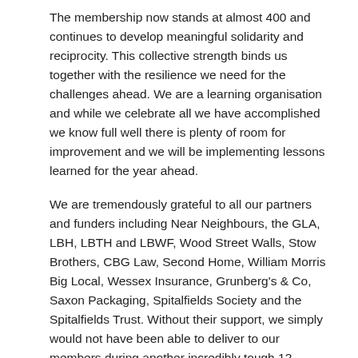The membership now stands at almost 400 and continues to develop meaningful solidarity and reciprocity. This collective strength binds us together with the resilience we need for the challenges ahead. We are a learning organisation and while we celebrate all we have accomplished we know full well there is plenty of room for improvement and we will be implementing lessons learned for the year ahead.
We are tremendously grateful to all our partners and funders including Near Neighbours, the GLA, LBH, LBTH and LBWF, Wood Street Walls, Stow Brothers, CBG Law, Second Home, William Morris Big Local, Wessex Insurance, Grunberg's & Co, Saxon Packaging, Spitalfields Society and the Spitalfields Trust. Without their support, we simply would not have been able to deliver to our members during another incredibly tough 12 months.
After listening to members in 2020 we identified the following common priorities.